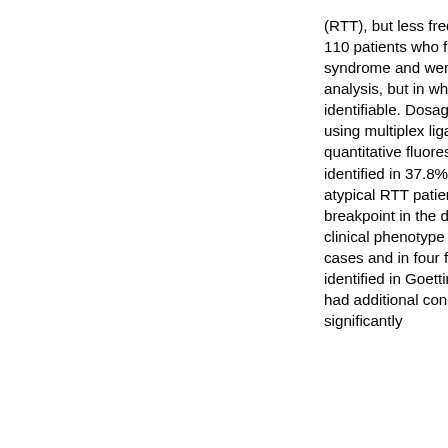(RTT), but less frequently in atypical RTT. We recruited 110 patients who fulfilled the diagnostic criteria for Rett syndrome and were referred to Cardiff for molecular analysis, but in whom an MECP2 mutation was not identifiable. Dosage analysis of MECP2 was carried out using multiplex ligation dependent probe amplification or quantitative fluorescent PCR. Large deletions were identified in 37.8% (14/37) of classic and 7.5% (4/53) of atypical RTT patients. Most large deletions contained a breakpoint in the deletion prone region of exon 4. The clinical phenotype was ascertained in all 18 of the deleted cases and in four further cases with large deletions identified in Goettingen. Five patients with large deletions had additional congenital anomalies, which was significantly